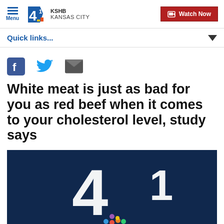Menu | 41 KSHB KANSAS CITY | Watch Now
Quick links...
[Figure (other): Social share icons: Facebook, Twitter, Email]
White meat is just as bad for you as red beef when it comes to your cholesterol level, study says
[Figure (photo): KSHB 41 news video thumbnail with large white '4' numeral on dark blue background with NBC peacock logo]